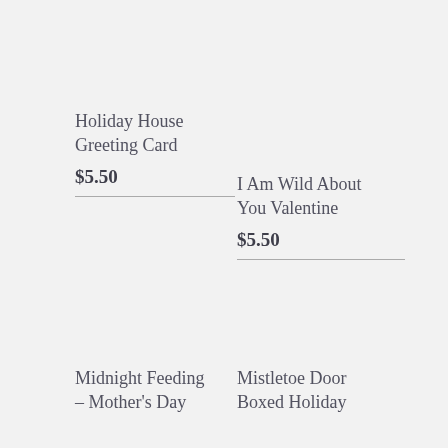Holiday House Greeting Card
$5.50
I Am Wild About You Valentine
$5.50
Midnight Feeding – Mother's Day
Mistletoe Door Boxed Holiday